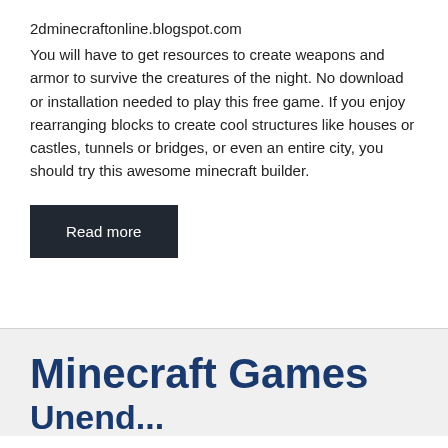2dminecraftonline.blogspot.com
You will have to get resources to create weapons and armor to survive the creatures of the night. No download or installation needed to play this free game. If you enjoy rearranging blocks to create cool structures like houses or castles, tunnels or bridges, or even an entire city, you should try this awesome minecraft builder.
Read more
Minecraft Games